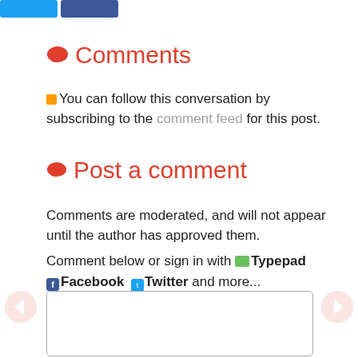[Figure (other): Social media share buttons: Twitter (blue) and Facebook (blue)]
Comments
You can follow this conversation by subscribing to the comment feed for this post.
Post a comment
Comments are moderated, and will not appear until the author has approved them.
Comment below or sign in with Typepad Facebook Twitter and more...
[Figure (other): Empty comment text area input box]